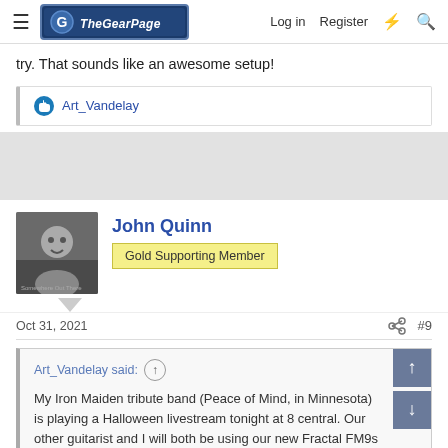The Gear Page — Log in | Register
try. That sounds like an awesome setup!
Art_Vandelay
[Figure (other): Advertisement area (gray background)]
John Quinn
Gold Supporting Member
Oct 31, 2021    #9
Art_Vandelay said:
My Iron Maiden tribute band (Peace of Mind, in Minnesota) is playing a Halloween livestream tonight at 8 central. Our other guitarist and I will both be using our new Fractal FM9s for the first time live.